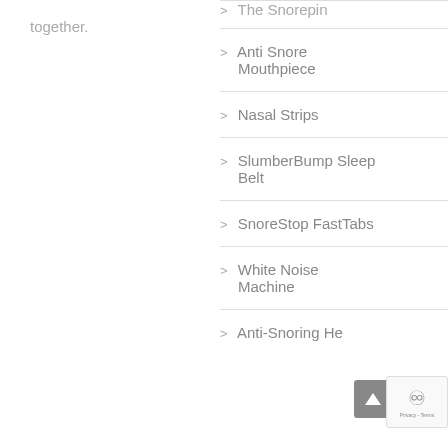together.
> The Snorepin
> Anti Snore Mouthpiece
> Nasal Strips
> SlumberBump Sleep Belt
> SnoreStop FastTabs
> White Noise Machine
> Anti-Snoring He...